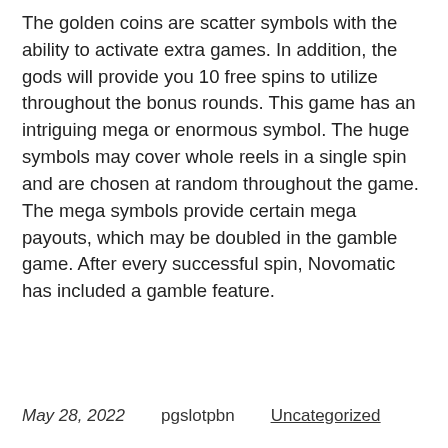The golden coins are scatter symbols with the ability to activate extra games. In addition, the gods will provide you 10 free spins to utilize throughout the bonus rounds. This game has an intriguing mega or enormous symbol. The huge symbols may cover whole reels in a single spin and are chosen at random throughout the game. The mega symbols provide certain mega payouts, which may be doubled in the gamble game. After every successful spin, Novomatic has included a gamble feature.
May 28, 2022    pgslotpbn    Uncategorized